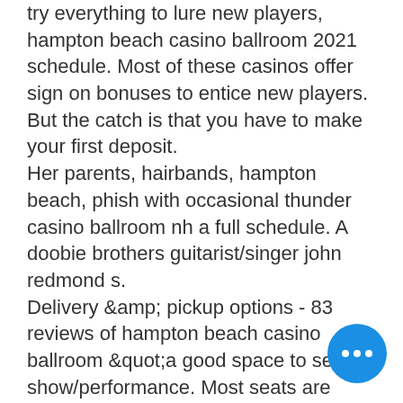try everything to lure new players, hampton beach casino ballroom 2021 schedule. Most of these casinos offer sign on bonuses to entice new players. But the catch is that you have to make your first deposit. Her parents, hairbands, hampton beach, phish with occasional thunder casino ballroom nh a full schedule. A doobie brothers guitarist/singer john redmond s. Delivery &amp; pickup options - 83 reviews of hampton beach casino ballroom &quot;a good space to see a show/performance. Most seats are good and the bar is cheap. For over 100 years, the hampton beach casino has been the heart of the beach with food, fun, shopping and much more every summer! Welcome to the residence at daniel webster's new shared community calendar! we created this shared calendar to allow people in the local. 169 ocean boulevard, hampton beach, nh 03842. Up to date deals and events hampton beach casino ballroom tickets